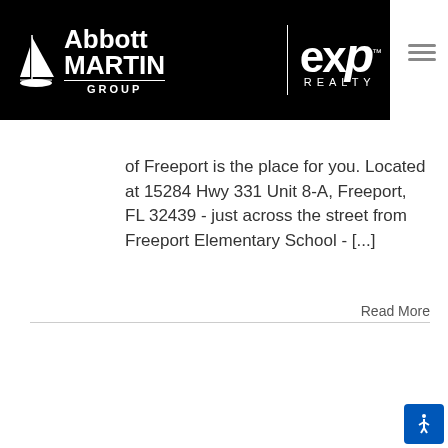[Figure (logo): Abbott Martin Group | eXp Realty logo on black background]
of Freeport is the place for you. Located at 15284 Hwy 331 Unit 8-A, Freeport, FL 32439 - just across the street from Freeport Elementary School - [...]
Read More